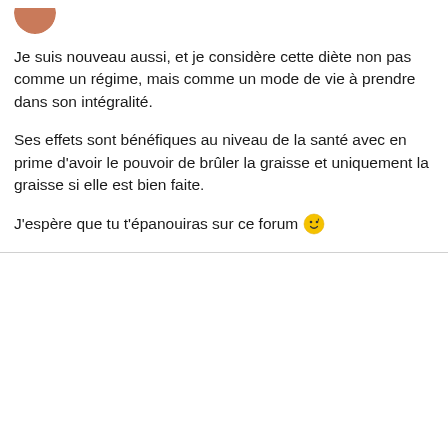[Figure (illustration): Partial circular avatar image, brownish-orange color, top-left corner]
Je suis nouveau aussi, et je considère cette diète non pas comme un régime, mais comme un mode de vie à prendre dans son intégralité.
Ses effets sont bénéfiques au niveau de la santé avec en prime d’avoir le pouvoir de brûler la graisse et uniquement la graisse si elle est bien faite.
J’espère que tu t’épanouiras sur ce forum 😉